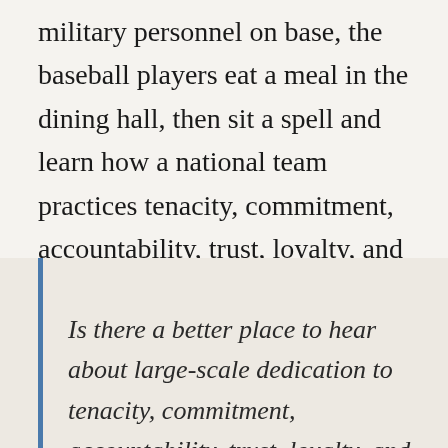military personnel on base, the baseball players eat a meal in the dining hall, then sit a spell and learn how a national team practices tenacity, commitment, accountability, trust, loyalty, and leadership for the sake of others.
Is there a better place to hear about large-scale dedication to tenacity, commitment, accountability, trust, loyalty, and